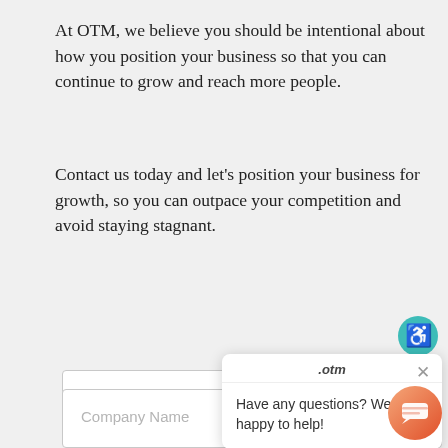At OTM, we believe you should be intentional about how you position your business so that you can continue to grow and reach more people.
Contact us today and let's position your business for growth, so you can outpace your competition and avoid staying stagnant.
[Figure (infographic): Teal accessibility icon (wheelchair symbol) in top-right area]
[Figure (screenshot): Chat popup widget with .otm header, close X button, and message 'Have any questions? We are happy to help!']
Name
Company Name
[Figure (infographic): Orange/coral circular chat button in bottom right corner]